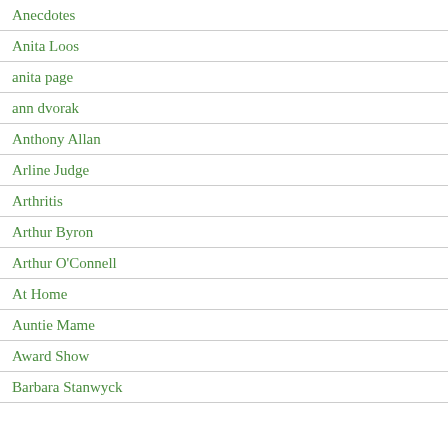Anecdotes
Anita Loos
anita page
ann dvorak
Anthony Allan
Arline Judge
Arthritis
Arthur Byron
Arthur O'Connell
At Home
Auntie Mame
Award Show
Barbara Stanwyck